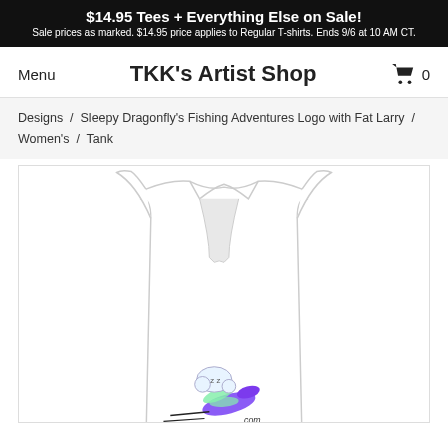$14.95 Tees + Everything Else on Sale! Sale prices as marked. $14.95 price applies to Regular T-shirts. Ends 9/6 at 10 AM CT.
Menu
TKK's Artist Shop
0
Designs / Sleepy Dragonfly's Fishing Adventures Logo with Fat Larry / Women's / Tank
[Figure (photo): White women's racerback tank top with a cartoon dragonfly logo featuring a sleeping dragonfly character with a fish and the text ending in .com]